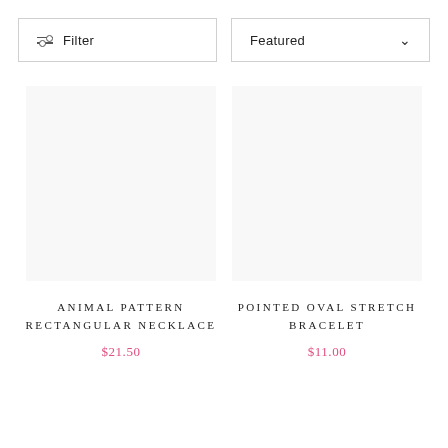Filter
Featured
ANIMAL PATTERN RECTANGULAR NECKLACE
$21.50
POINTED OVAL STRETCH BRACELET
$11.00